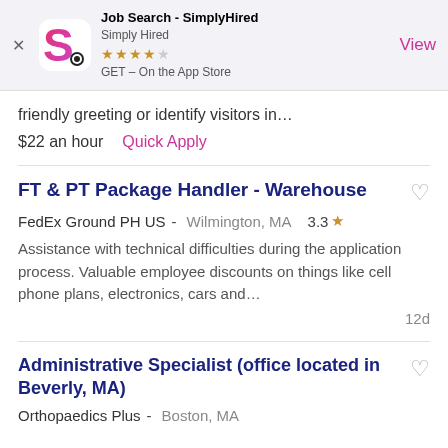[Figure (screenshot): App Store banner for Job Search - SimplyHired app showing logo, star rating (4 stars), and View button]
friendly greeting or identify visitors in…
$22 an hour   Quick Apply
FT & PT Package Handler - Warehouse
FedEx Ground PH US -  Wilmington, MA   3.3 ★
Assistance with technical difficulties during the application process. Valuable employee discounts on things like cell phone plans, electronics, cars and…
12d
Administrative Specialist (office located in Beverly, MA)
Orthopaedics Plus -  Boston, MA